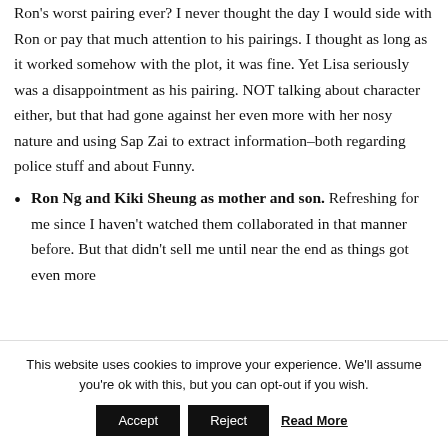Ron's worst pairing ever? I never thought the day I would side with Ron or pay that much attention to his pairings. I thought as long as it worked somehow with the plot, it was fine. Yet Lisa seriously was a disappointment as his pairing. NOT talking about character either, but that had gone against her even more with her nosy nature and using Sap Zai to extract information–both regarding police stuff and about Funny.
Ron Ng and Kiki Sheung as mother and son. Refreshing for me since I haven't watched them collaborated in that manner before. But that didn't sell me until near the end as things got even more complicated. Ron and first had been receiving it...
This website uses cookies to improve your experience. We'll assume you're ok with this, but you can opt-out if you wish.